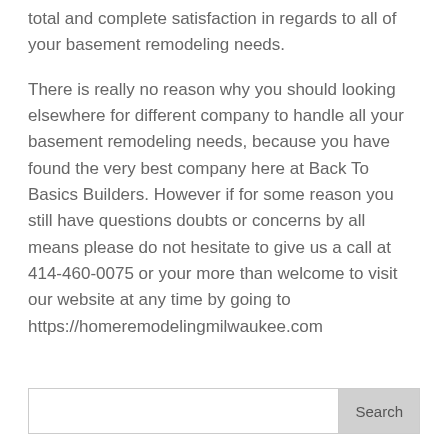total and complete satisfaction in regards to all of your basement remodeling needs.
There is really no reason why you should looking elsewhere for different company to handle all your basement remodeling needs, because you have found the very best company here at Back To Basics Builders. However if for some reason you still have questions doubts or concerns by all means please do not hesitate to give us a call at 414-460-0075 or your more than welcome to visit our website at any time by going to https://homeremodelingmilwaukee.com